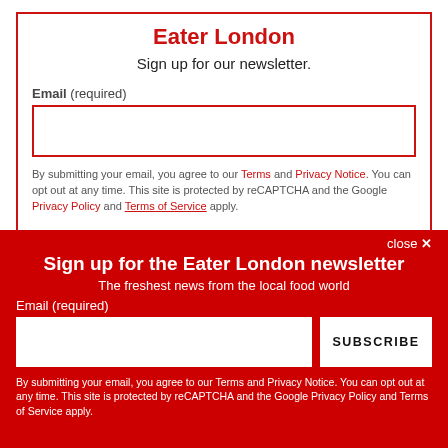Eater London
Sign up for our newsletter.
Email (required)
By submitting your email, you agree to our Terms and Privacy Notice. You can opt out at any time. This site is protected by reCAPTCHA and the Google Privacy Policy and Terms of Service apply.
close ×
Sign up for the Eater London newsletter
The freshest news from the local food world
Email (required)
SUBSCRIBE
By submitting your email, you agree to our Terms and Privacy Notice. You can opt out at any time. This site is protected by reCAPTCHA and the Google Privacy Policy and Terms of Service apply.